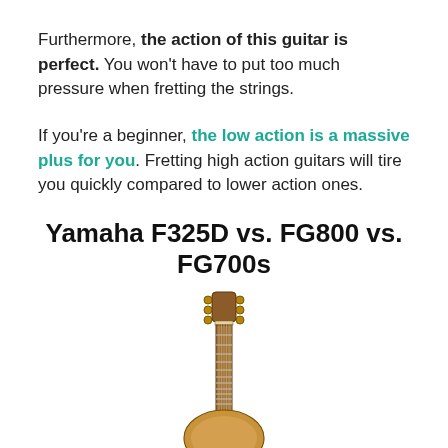Furthermore, the action of this guitar is perfect. You won't have to put too much pressure when fretting the strings.
If you're a beginner, the low action is a massive plus for you. Fretting high action guitars will tire you quickly compared to lower action ones.
Yamaha F325D vs. FG800 vs. FG700s
[Figure (photo): Photo of a Yamaha acoustic guitar showing the headstock and upper neck/body portion against a white background.]